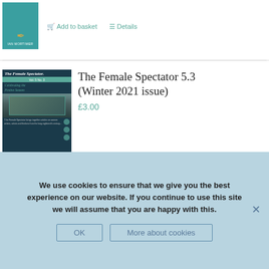[Figure (illustration): Book cover thumbnail with teal background and IAN MORTIMER author name]
Add to basket   Details
[Figure (illustration): The Female Spectator magazine cover - Winter 2021 issue, dark teal background with 'Celebrating the Festive Season' text and nativity-style image]
The Female Spectator 5.3 (Winter 2021 issue)
£3.00
Chawton House's digital magazine The Female
We use cookies to ensure that we give you the best experience on our website. If you continue to use this site we will assume that you are happy with this.
OK   More about cookies